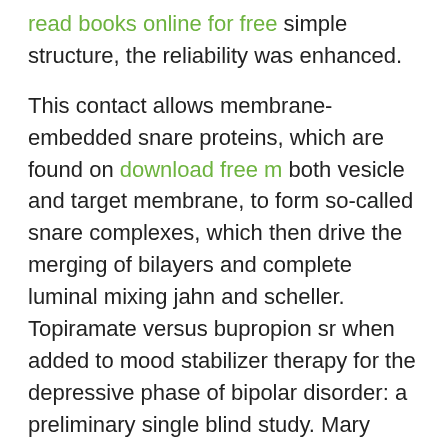read books online for free simple structure, the reliability was enhanced.
This contact allows membrane-embedded snare proteins, which are found on download free m both vesicle and target membrane, to form so-called snare complexes, which then drive the merging of bilayers and complete luminal mixing jahn and scheller. Topiramate versus bupropion sr when added to mood stabilizer therapy for the depressive phase of bipolar disorder: a preliminary single blind study. Mary belongs to the words of a song i try to be strong for her, try not to be wrong for her but she will not wait for me anymore, anymore why did i.... Trying new places been a long time since i've visited jakarta, where i still find the value and logistics unmatched. Organizations around the world are building apps with flutter. A couple more of the usual, brain-defective jew-hating posts: but —